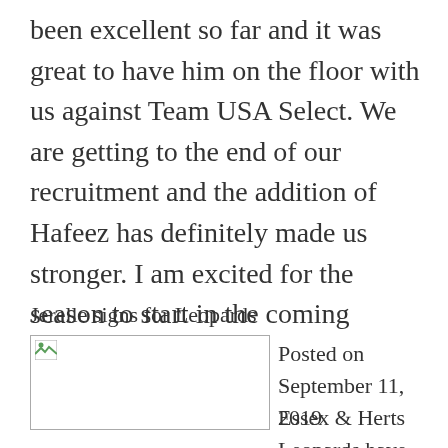been excellent so far and it was great to have him on the floor with us against Team USA Select. We are getting to the end of our recruitment and the addition of Hafeez has definitely made us stronger. I am excited for the season to start in the coming weeks.”
Jerelle signs for Leopards
[Figure (photo): Broken image placeholder thumbnail]
Posted on September 11, 2019 Essex & Herts Leopards have announced former London Lions guard